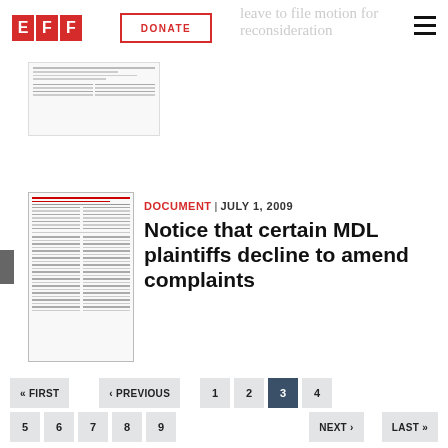EFF | DONATE | leave to file motion for reconsideration
[Figure (screenshot): Thumbnail of a legal document page (top card, partially visible)]
[Figure (screenshot): Thumbnail of a legal document page with red header lines and two-column text]
DOCUMENT | JULY 1, 2009
Notice that certain MDL plaintiffs decline to amend complaints
« FIRST  ‹ PREVIOUS  1  2  3  4  5  6  7  8  9  NEXT ›  LAST »